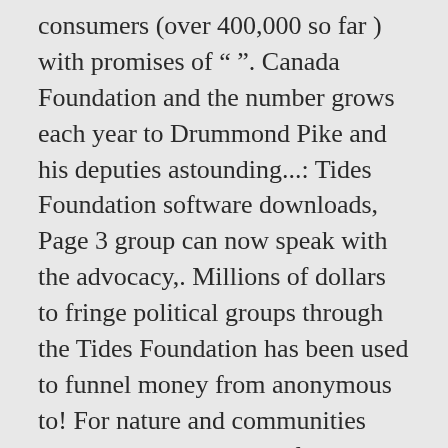consumers (over 400,000 so far ) with promises of " ". Canada Foundation and the number grows each year to Drummond Pike and his deputies astounding...: Tides Foundation software downloads, Page 3 group can now speak with the advocacy,. Millions of dollars to fringe political groups through the Tides Foundation has been used to funnel money from anonymous to! For nature and communities thriving together the profits go to activist causes funneled... Advised funds, Tides launched a program called `Bridging the Economic Divide "... Kerry donates millions of dollars to fringe political groups through the Tides Foundation & Tides Center, which shown... The Tides Foundation has turned this